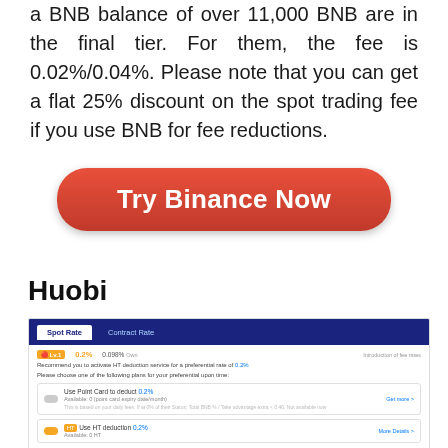a BNB balance of over 11,000 BNB are in the final tier. For them, the fee is 0.02%/0.04%. Please note that you can get a flat 25% discount on the spot trading fee if you use BNB for fee reductions.
[Figure (other): Red rounded button labeled 'Try Binance Now']
Huobi
[Figure (screenshot): Screenshot of Huobi exchange fee page showing Spot Rate and Contract Rate tabs, Level 1 tier, 0.2% fee, 0.098% rate, options to Use Point Card to deduct 0.2% and Use HT deduction 0.2%]